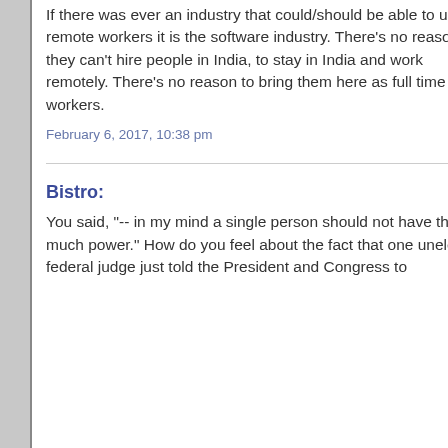If there was ever an industry that could/should be able to use remote workers it is the software industry. There's no reason they can't hire people in India, to stay in India and work remotely. There's no reason to bring them here as full time workers.
February 6, 2017, 10:38 pm
Bistro:
You said, "-- in my mind a single person should not have this much power." How do you feel about the fact that one unelected federal judge just told the President and Congress to...